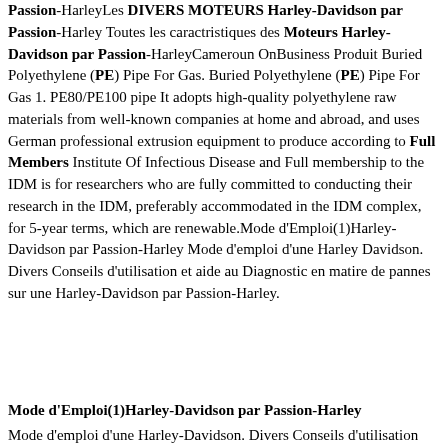Passion-HarleyLes DIVERS MOTEURS Harley-Davidson par Passion-Harley Toutes les caractristiques des Moteurs Harley-Davidson par Passion-HarleyCameroun OnBusiness Produit Buried Polyethylene (PE) Pipe For Gas. Buried Polyethylene (PE) Pipe For Gas 1. PE80/PE100 pipe It adopts high-quality polyethylene raw materials from well-known companies at home and abroad, and uses German professional extrusion equipment to produce according to Full Members Institute Of Infectious Disease and Full membership to the IDM is for researchers who are fully committed to conducting their research in the IDM, preferably accommodated in the IDM complex, for 5-year terms, which are renewable.Mode d'Emploi(1)Harley-Davidson par Passion-Harley Mode d'emploi d'une Harley Davidson. Divers Conseils d'utilisation et aide au Diagnostic en matire de pannes sur une Harley-Davidson par Passion-Harley.
Mode d'Emploi(1)Harley-Davidson par Passion-Harley
Mode d'emploi d'une Harley-Davidson. Divers Conseils d'utilisation